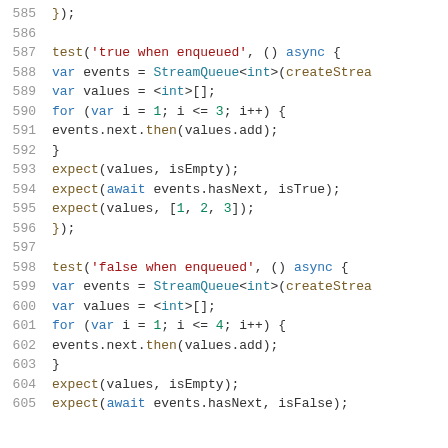Code listing lines 585-605: Dart/JavaScript test code for StreamQueue
585    });
586    
587    test('true when enqueued', () async {
588      var events = StreamQueue<int>(createStrea
589      var values = <int>[];
590      for (var i = 1; i <= 3; i++) {
591        events.next.then(values.add);
592      }
593      expect(values, isEmpty);
594      expect(await events.hasNext, isTrue);
595      expect(values, [1, 2, 3]);
596    });
597    
598    test('false when enqueued', () async {
599      var events = StreamQueue<int>(createStrea
600      var values = <int>[];
601      for (var i = 1; i <= 4; i++) {
602        events.next.then(values.add);
603      }
604      expect(values, isEmpty);
605      expect(await events.hasNext, isFalse);